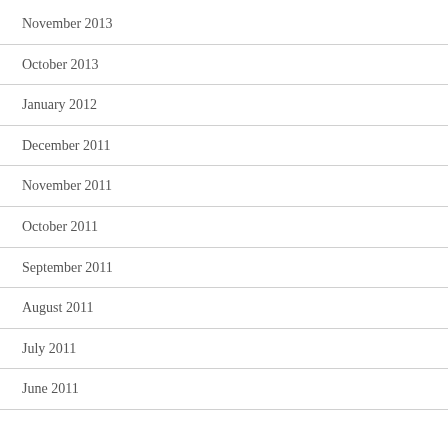November 2013
October 2013
January 2012
December 2011
November 2011
October 2011
September 2011
August 2011
July 2011
June 2011